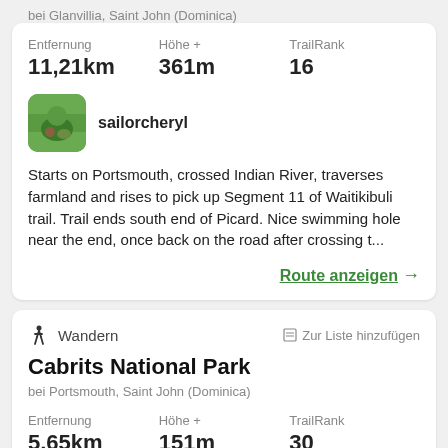bei Glanvillia, Saint John (Dominica)
| Entfernung | Höhe + | TrailRank |
| --- | --- | --- |
| 11,21km | 361m | 16 |
sailorcheryl
Starts on Portsmouth, crossed Indian River, traverses farmland and rises to pick up Segment 11 of Waitikibuli trail. Trail ends south end of Picard. Nice swimming hole near the end, once back on the road after crossing t...
Route anzeigen →
Wandern
Zur Liste hinzufügen
Cabrits National Park
bei Portsmouth, Saint John (Dominica)
| Entfernung | Höhe + | TrailRank |
| --- | --- | --- |
| 5,65km | 151m | 30 |